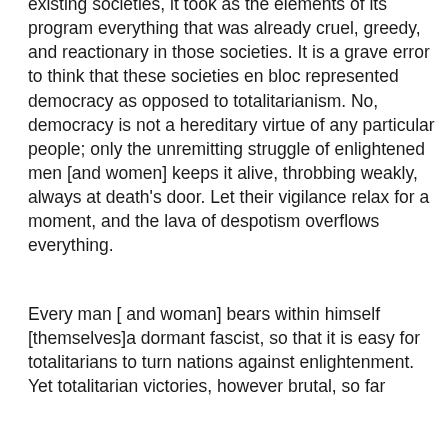existing societies, it took as the elements of its program everything that was already cruel, greedy, and reactionary in those societies. It is a grave error to think that these societies en bloc represented democracy as opposed to totalitarianism. No, democracy is not a hereditary virtue of any particular people; only the unremitting struggle of enlightened men [and women] keeps it alive, throbbing weakly, always at death's door. Let their vigilance relax for a moment, and the lava of despotism overflows everything.
Every man [ and woman] bears within himself [themselves]a dormant fascist, so that it is easy for totalitarians to turn nations against enlightenment. Yet totalitarian victories, however brutal, so far